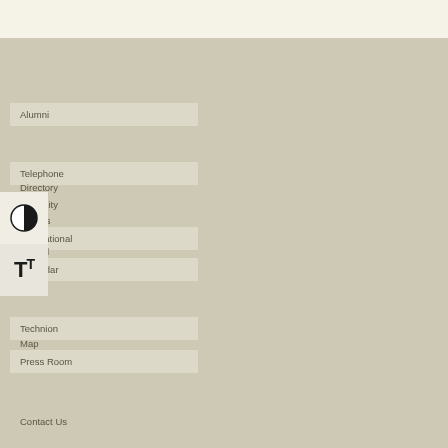Alumni
Telephone
Directory
Disability
Access
International
School
Calendar
Technion
Map
Press Room
Contact Us